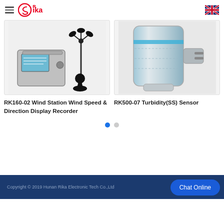[Figure (logo): Rika Electronic Tech logo with hamburger menu icon and UK flag icon]
[Figure (photo): RK160-02 Wind Station showing anemometer, wind vane, and display recorder unit on grey background]
[Figure (photo): RK500-07 Turbidity(SS) Sensor showing stainless steel cylindrical probe on grey background]
RK160-02 Wind Station Wind Speed & Direction Display Recorder
RK500-07 Turbidity(SS) Sensor
Copyright © 2019 Hunan Rika Electronic Tech Co.,Ltd